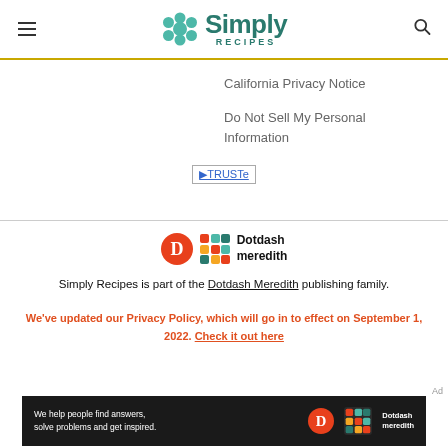Simply Recipes
California Privacy Notice
Do Not Sell My Personal Information
[Figure (logo): TRUSTe certification badge]
[Figure (logo): Dotdash Meredith logo]
Simply Recipes is part of the Dotdash Meredith publishing family.
We've updated our Privacy Policy, which will go in to effect on September 1, 2022. Check it out here
Ad
[Figure (illustration): Dotdash Meredith advertisement banner: 'We help people find answers, solve problems and get inspired.']